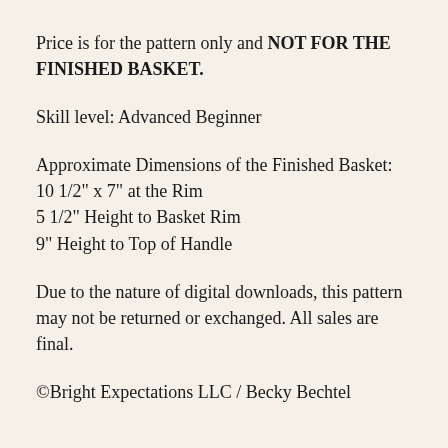Price is for the pattern only and NOT FOR THE FINISHED BASKET.
Skill level: Advanced Beginner
Approximate Dimensions of the Finished Basket:
10 1/2" x 7" at the Rim
5 1/2" Height to Basket Rim
9" Height to Top of Handle
Due to the nature of digital downloads, this pattern may not be returned or exchanged. All sales are final.
©Bright Expectations LLC / Becky Bechtel